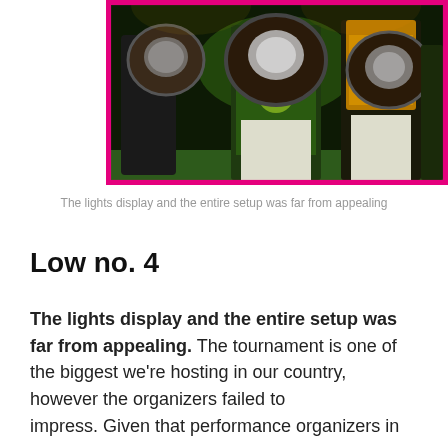[Figure (photo): Performers in colorful traditional costumes playing large dhol/tabla drums at a night event, with green and yellow sashes, white outfits, under stage lighting.]
The lights display and the entire setup was far from appealing
Low no. 4
The lights display and the entire setup was far from appealing. The tournament is one of the biggest we're hosting in our country, however the organizers failed to impress. Given that performance organizers in that t…